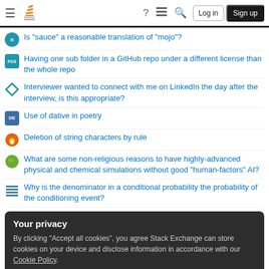Stack Exchange navigation bar with hamburger menu, logo, help, chat, search icons, Log in and Sign up buttons
Is "sauce" a reasonable translation of "mojo"?
Having one sub folder in a GitHub repo under a different license than the whole repo
Interviewer wanted to connect with me on LinkedIn the day after the interview, is this appropriate?
Use of dative in poetry
Deletion of string characters by rule
What are some non-religious reasons to have highly-advanced physical and chemical simulations without good "human-factors" AI?
Why is the denominator in a conditional probability the probability of the conditioning event?
Your privacy
By clicking "Accept all cookies", you agree Stack Exchange can store cookies on your device and disclose information in accordance with our Cookie Policy.
Accept all cookies  Customize settings
cannot store my bike with new drum braking wheels